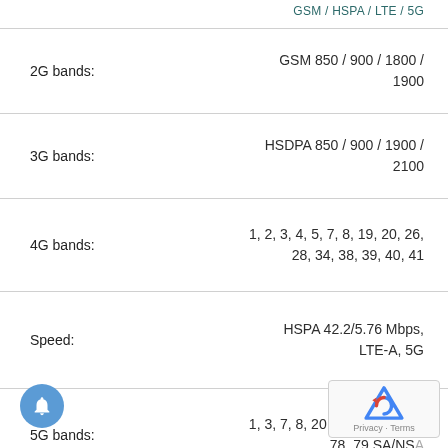GSM / HSPA / LTE / 5G
| Band | Value |
| --- | --- |
| 2G bands: | GSM 850 / 900 / 1800 / 1900 |
| 3G bands: | HSDPA 850 / 900 / 1900 / 2100 |
| 4G bands: | 1, 2, 3, 4, 5, 7, 8, 19, 20, 26, 28, 34, 38, 39, 40, 41 |
| Speed: | HSPA 42.2/5.76 Mbps, LTE-A, 5G |
| 5G bands: | 1, 3, 7, 8, 20, 28, 38, 41, 77, 78, 79 SA/NSA |